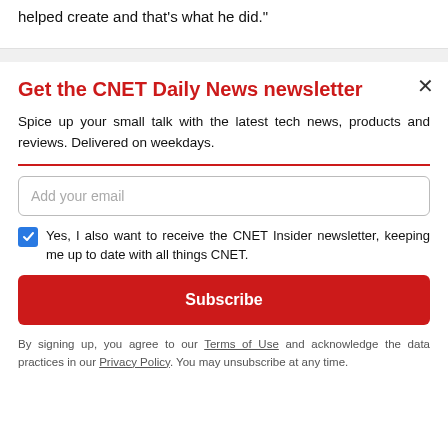helped create and that’s what he did."
Get the CNET Daily News newsletter
Spice up your small talk with the latest tech news, products and reviews. Delivered on weekdays.
Add your email
Yes, I also want to receive the CNET Insider newsletter, keeping me up to date with all things CNET.
Subscribe
By signing up, you agree to our Terms of Use and acknowledge the data practices in our Privacy Policy. You may unsubscribe at any time.